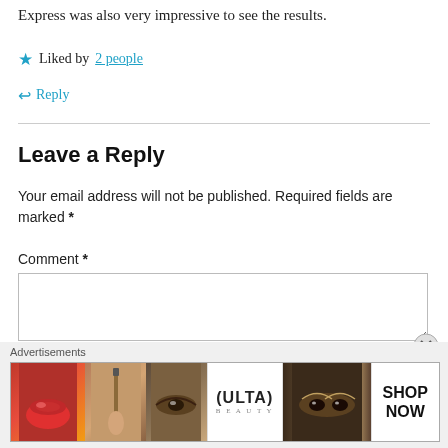Express was also very impressive to see the results.
★ Liked by 2 people
↩ Reply
Leave a Reply
Your email address will not be published. Required fields are marked *
Comment *
[Figure (other): Advertisements banner with beauty/makeup images including lips, brush, eye, Ulta Beauty logo, smoky eyes, and SHOP NOW text]
Advertisements